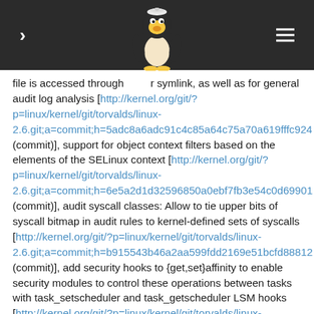Linux kernel documentation page with navigation
[Figure (illustration): Tux the Linux penguin mascot logo in the header navigation bar]
file is accessed through a symlink, as well as for general audit log analysis [http://kernel.org/git/?p=linux/kernel/git/torvalds/linux-2.6.git;a=commit;h=5adc8a6adc91c4c85a64c75a70a619fffc924 (commit)], support for object context filters based on the elements of the SELinux context [http://kernel.org/git/?p=linux/kernel/git/torvalds/linux-2.6.git;a=commit;h=6e5a2d1d32596850a0ebf7fb3e54c0d69901 (commit)], audit syscall classes: Allow to tie upper bits of syscall bitmap in audit rules to kernel-defined sets of syscalls [http://kernel.org/git/?p=linux/kernel/git/torvalds/linux-2.6.git;a=commit;h=b915543b46a2aa599fdd2169e51bcfd88812 (commit)], add security hooks to {get,set}affinity to enable security modules to control these operations between tasks with task_setscheduler and task_getscheduler LSM hooks [http://kernel.org/git/?p=linux/kernel/git/torvalds/linux-2.6.git;a=commit;h=e7834f8fccd791225a1cf91c2c3e740ad8e2e (commit)], add a security hook call to enable security modules to control the ability to attach a task to a cpuset [http://kernel.org/git/?p=linux/kernel/git/torvalds/linux-